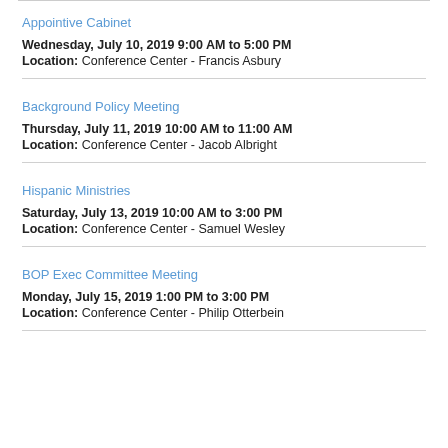Appointive Cabinet
Wednesday, July 10, 2019 9:00 AM to 5:00 PM
Location: Conference Center - Francis Asbury
Background Policy Meeting
Thursday, July 11, 2019 10:00 AM to 11:00 AM
Location: Conference Center - Jacob Albright
Hispanic Ministries
Saturday, July 13, 2019 10:00 AM to 3:00 PM
Location: Conference Center - Samuel Wesley
BOP Exec Committee Meeting
Monday, July 15, 2019 1:00 PM to 3:00 PM
Location: Conference Center - Philip Otterbein